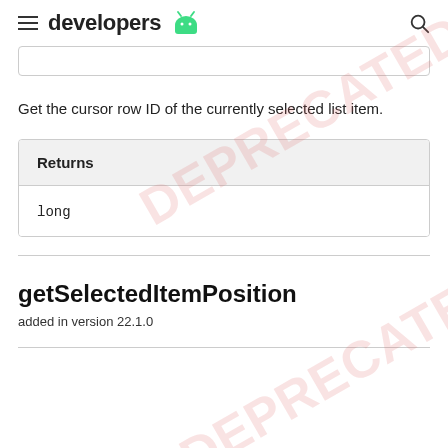developers
Get the cursor row ID of the currently selected list item.
| Returns |
| --- |
| long |
getSelectedItemPosition
added in version 22.1.0